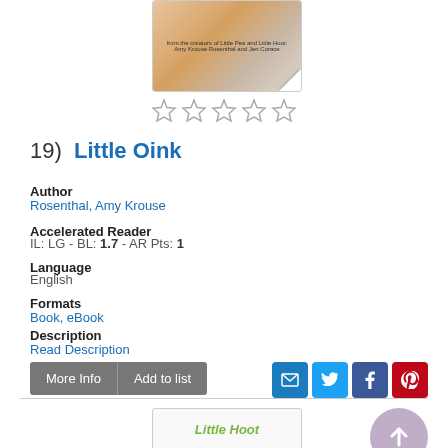[Figure (illustration): Book cover at top, partially visible]
[Figure (other): 5 empty star rating icons]
19)  Little Oink
Author
Rosenthal, Amy Krouse
Accelerated Reader
IL: LG - BL: 1.7 - AR Pts: 1
Language
English
Formats
Book, eBook
Description
Read Description
More Info | Add to list
[Figure (illustration): Social share icons: email, twitter, facebook, pinterest]
[Figure (illustration): Little Hoot book cover, bottom of page]
[Figure (other): Scroll to top button, purple circle with up arrow]